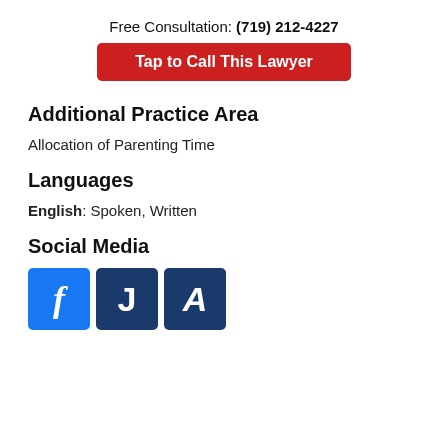Free Consultation: (719) 212-4227
Tap to Call This Lawyer
Additional Practice Area
Allocation of Parenting Time
Languages
English: Spoken, Written
Social Media
[Figure (logo): Three social media icons: Facebook (blue 'f'), Justia (dark blue 'J'), Avvo (dark blue 'A')]